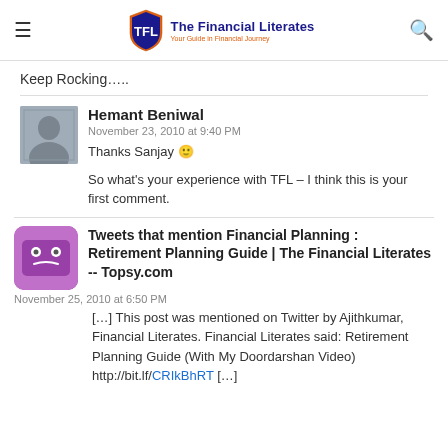The Financial Literates — Your Guide in Financial Journey
Keep Rocking…..
Hemant Beniwal
November 23, 2010 at 9:40 PM
Thanks Sanjay 🙂

So what's your experience with TFL – I think this is your first comment.
Tweets that mention Financial Planning : Retirement Planning Guide | The Financial Literates -- Topsy.com
November 25, 2010 at 6:50 PM
[…] This post was mentioned on Twitter by Ajithkumar, Financial Literates. Financial Literates said: Retirement Planning Guide (With My Doordarshan Video) http://bit.lf/CRIkBhRT […]